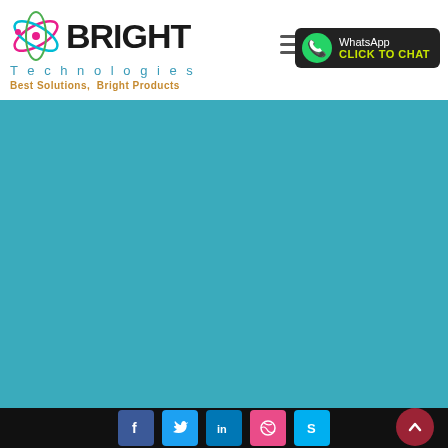[Figure (logo): Bright Technologies logo with orbit icon, 'BRIGHT' in bold black, 'Technologies' in teal spaced letters, tagline 'Best Solutions, Bright Products' in orange-brown]
[Figure (infographic): Hamburger/menu icon (three horizontal lines) in gray]
[Figure (infographic): WhatsApp Click to Chat button with phone icon on dark background, 'WhatsApp' in white and 'CLICK TO CHAT' in yellow-green]
[Figure (illustration): Large teal/cyan background area (main content area), no visible content]
[Figure (infographic): Footer social media icons: Facebook (f), Twitter bird, LinkedIn (in), Dribbble, Skype (S) on dark background, plus red scroll-to-top arrow button]